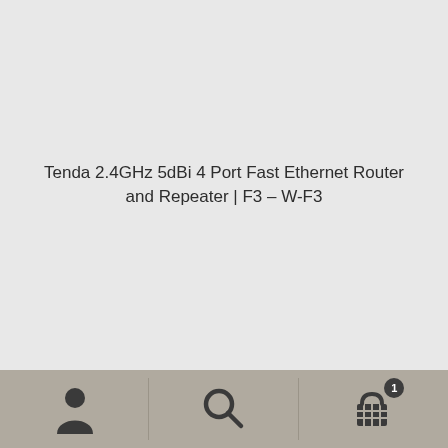Tenda 2.4GHz 5dBi 4 Port Fast Ethernet Router and Repeater | F3 – W-F3
[Figure (screenshot): Mobile app bottom navigation bar with three sections: person/account icon on left, search magnifying glass icon in center, shopping cart icon with badge showing '1' on right]